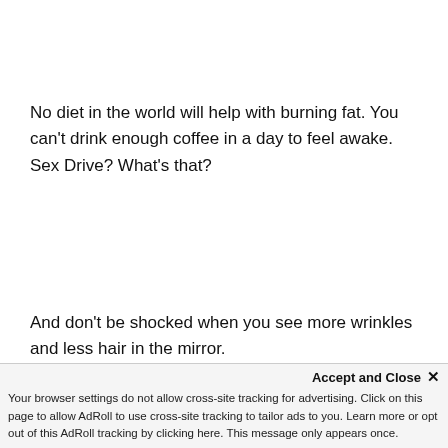No diet in the world will help with burning fat. You can't drink enough coffee in a day to feel awake. Sex Drive? What's that?
And don't be shocked when you see more wrinkles and less hair in the mirror.
Without fixing your hormones, there's not much that will
help you feel normal and like yourself again.
Accept and Close ×
Your browser settings do not allow cross-site tracking for advertising. Click on this page to allow AdRoll to use cross-site tracking to tailor ads to you. Learn more or opt out of this AdRoll tracking by clicking here. This message only appears once.